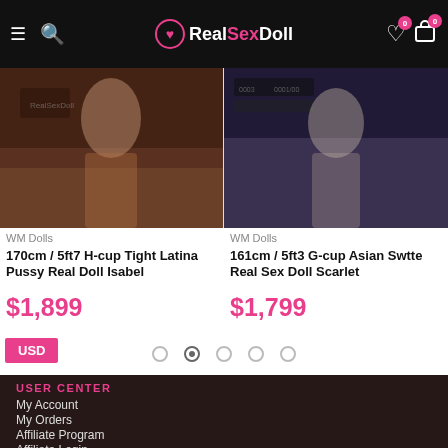RealSexDoll
[Figure (photo): Product photo left: 170cm / 5ft7 H-cup Tight Latina Pussy Real Doll Isabel]
[Figure (photo): Product photo right: 161cm / 5ft3 G-cup Asian Swtte Real Sex Doll Scarlet]
WM Dolls
170cm / 5ft7 H-cup Tight Latina Pussy Real Doll Isabel
$1,899
WM Dolls
161cm / 5ft3 G-cup Asian Swtte Real Sex Doll Scarlet
$1,799
USD
USER CENTER
My Account
My Orders
Affiliate Program
Affiliate Login
HELP